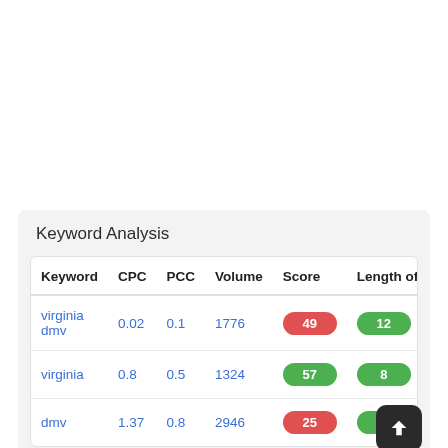Keyword Analysis
| Keyword | CPC | PCC | Volume | Score | Length of k |
| --- | --- | --- | --- | --- | --- |
| virginia dmv | 0.02 | 0.1 | 1776 | 49 | 12 |
| virginia | 0.8 | 0.5 | 1324 | 57 | 8 |
| dmv | 1.37 | 0.8 | 2946 | 25 | 3 |